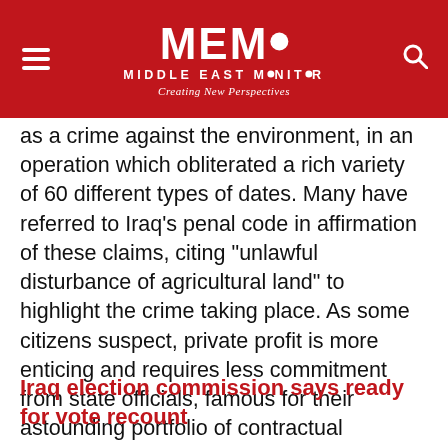MEMO MIDDLE EAST MONITOR Creating New Perspectives
as a crime against the environment, in an operation which obliterated a rich variety of 60 different types of dates. Many have referred to Iraq's penal code in affirmation of these claims, citing "unlawful disturbance of agricultural land" to highlight the crime taking place. As some citizens suspect, private profit is more enticing and requires less commitment from state officials, famous for their astounding portfolio of contractual corruption.
Iraq election commission says ready for vote recount